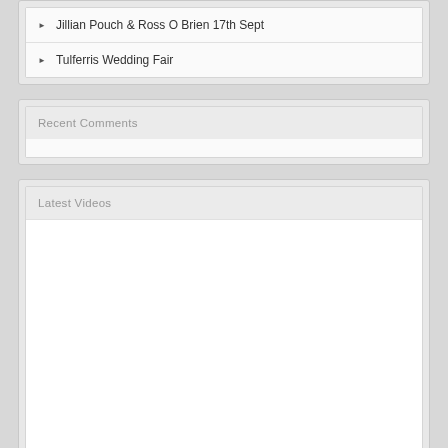Jillian Pouch & Ross O Brien 17th Sept
Tulferris Wedding Fair
Recent Comments
Latest Videos